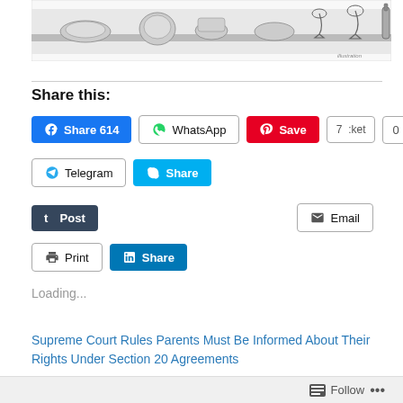[Figure (illustration): Black and white illustration of a dining table with various dishes, food items, and drinks]
Share this:
[Figure (screenshot): Social sharing buttons row 1: Facebook Share 614, WhatsApp, Pinterest Save, Pocket 7, Pocket count 0]
[Figure (screenshot): Social sharing buttons row 2: Telegram, Skype Share]
[Figure (screenshot): Social sharing buttons row 3: Tumblr Post, Email]
[Figure (screenshot): Social sharing buttons row 4: Print, LinkedIn Share]
Loading...
Supreme Court Rules Parents Must Be Informed About Their Rights Under Section 20 Agreements
Follow